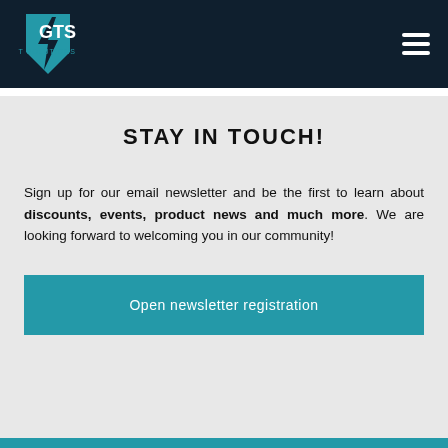[Figure (logo): GTS Test Solutions logo with lightning bolt icon in teal/blue on dark navy background header, with hamburger menu icon on right]
STAY IN TOUCH!
Sign up for our email newsletter and be the first to learn about discounts, events, product news and much more. We are looking forward to welcoming you in our community!
Open newsletter registration